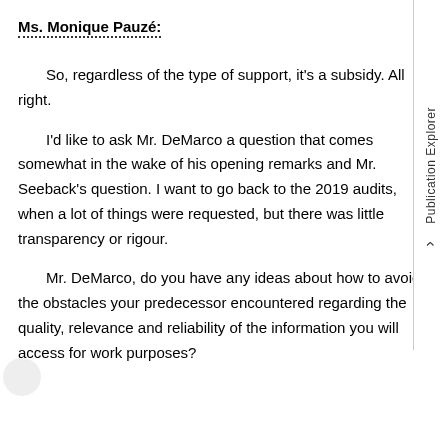Ms. Monique Pauzé:
So, regardless of the type of support, it's a subsidy. All right.
I'd like to ask Mr. DeMarco a question that comes somewhat in the wake of his opening remarks and Mr. Seeback's question. I want to go back to the 2019 audits, when a lot of things were requested, but there was little transparency or rigour.
Mr. DeMarco, do you have any ideas about how to avoid the obstacles your predecessor encountered regarding the quality, relevance and reliability of the information you will access for work purposes?